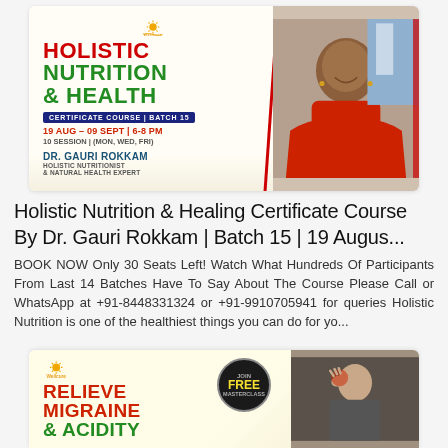[Figure (illustration): Wellcure Holistic Nutrition & Health Certificate Course banner, Batch 15, 19 Aug - 09 Sept, 6-8 PM, 10 sessions Mon/Wed/Fri, featuring Dr. Gauri Rokkam, Holistic Nutritionist & Natural Health Expert, with photo of a woman in red saree]
Holistic Nutrition & Healing Certificate Course By Dr. Gauri Rokkam | Batch 15 | 19 Augus...
BOOK NOW Only 30 Seats Left! Watch What Hundreds Of Participants From Last 14 Batches Have To Say About The Course Please Call or WhatsApp at +91-8448331324 or +91-9910705941 for queries Holistic Nutrition is one of the healthiest things you can do for yo...
[Figure (illustration): Wellcure Relieve Migraine & Acidity free masterclass banner with a man pressing his temple, showing a headache/migraine]